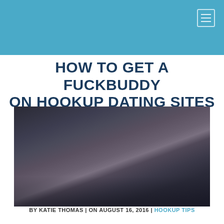HOW TO GET A FUCKBUDDY ON HOOKUP DATING SITES
[Figure (photo): A couple kissing on a bed, woman lying down in striped shirt, man leaning over her, dimly lit room with window in background]
BY KATIE THOMAS | ON AUGUST 16, 2016 | HOOKUP TIPS